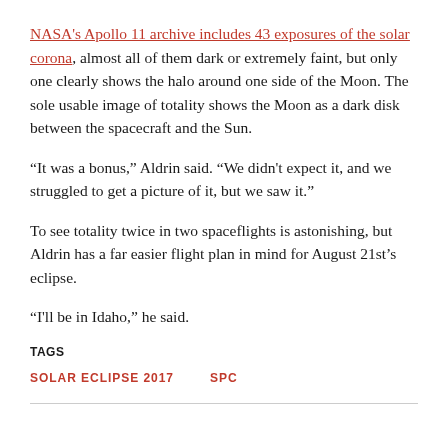NASA's Apollo 11 archive includes 43 exposures of the solar corona, almost all of them dark or extremely faint, but only one clearly shows the halo around one side of the Moon. The sole usable image of totality shows the Moon as a dark disk between the spacecraft and the Sun.
“It was a bonus,” Aldrin said. “We didn’t expect it, and we struggled to get a picture of it, but we saw it.”
To see totality twice in two spaceflights is astonishing, but Aldrin has a far easier flight plan in mind for August 21st’s eclipse.
“I’ll be in Idaho,” he said.
TAGS
SOLAR ECLIPSE 2017    SPC